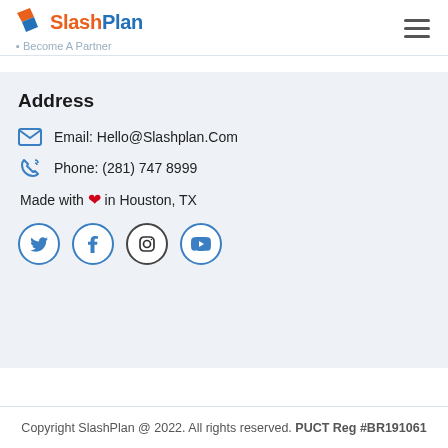Partners
[Figure (logo): SlashPlan logo with orange and blue icon and text, plus 'Become A Partner' link below]
Address
Email: Hello@Slashplan.Com
Phone: (281) 747 8999
Made with ❤ in Houston, TX
[Figure (illustration): Social media icons: Twitter, Facebook, Instagram, YouTube — circular outlined buttons]
Copyright SlashPlan @ 2022. All rights reserved. PUCT Reg #BR191061